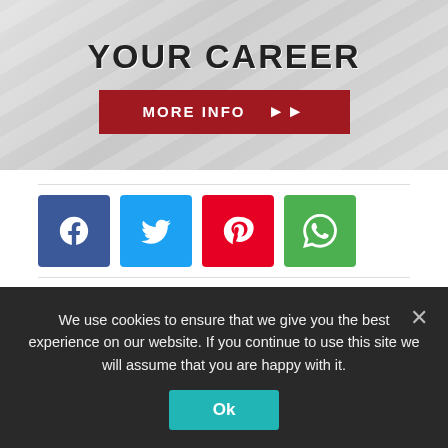[Figure (illustration): Advertisement banner with 'YOUR CAREER' text and red 'MORE INFO >>' button on grey striped background]
[Figure (infographic): Row of four social share buttons: Facebook (blue), Twitter (cyan), Pinterest (red), WhatsApp (green)]
We use cookies to ensure that we give you the best experience on our website. If you continue to use this site we will assume that you are happy with it.
Ok